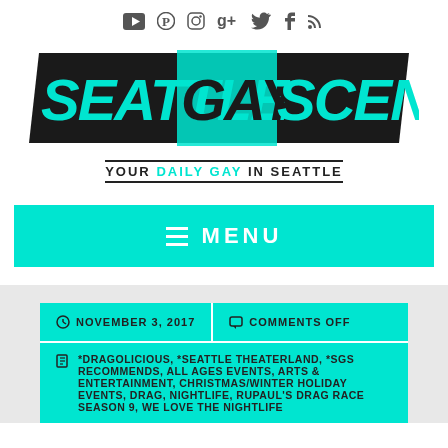[Figure (logo): Seattle Gay Scene logo - bold italic text on black background with cyan/teal highlight on GAY word]
YOUR DAILY GAY IN SEATTLE
≡ MENU
NOVEMBER 3, 2017
COMMENTS OFF
*DRAGOLICIOUS, *SEATTLE THEATERLAND, *SGS RECOMMENDS, ALL AGES EVENTS, ARTS & ENTERTAINMENT, CHRISTMAS/WINTER HOLIDAY EVENTS, DRAG, NIGHTLIFE, RUPAUL'S DRAG RACE SEASON 9, WE LOVE THE NIGHTLIFE